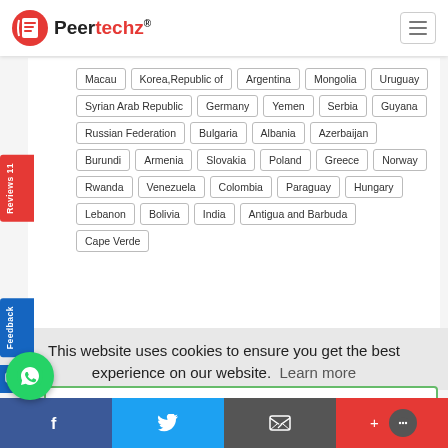[Figure (logo): Peertechz logo with red document icon and registered trademark symbol]
Macau
Korea,Republic of
Argentina
Mongolia
Uruguay
Syrian Arab Republic
Germany
Yemen
Serbia
Guyana
Russian Federation
Bulgaria
Albania
Azerbaijan
Burundi
Armenia
Slovakia
Poland
Greece
Norway
Rwanda
Venezuela
Colombia
Paraguay
Hungary
Lebanon
Bolivia
India
Antigua and Barbuda
Cape Verde
This website uses cookies to ensure you get the best experience on our website.  Learn more
Yes, I understand